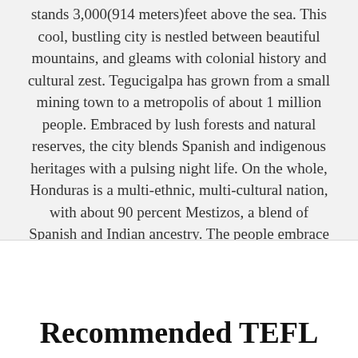stands 3,000 (914 meters) feet above the sea. This cool, bustling city is nestled between beautiful mountains, and gleams with colonial history and cultural zest. Tegucigalpa has grown from a small mining town to a metropolis of about 1 million people. Embraced by lush forests and natural reserves, the city blends Spanish and indigenous heritages with a pulsing night life. On the whole, Honduras is a multi-ethnic, multi-cultural nation, with about 90 percent Mestizos, a blend of Spanish and Indian ancestry. The people embrace a simple, laid-back lifestyle and a friendly, welcoming demeanor.
Recommended TEFL